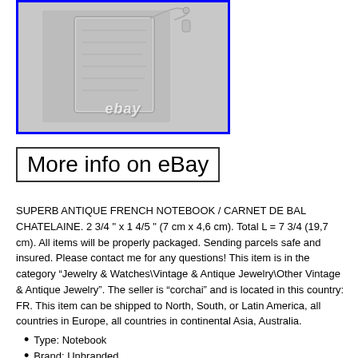[Figure (photo): Silver antique French notebook / carnet de bal chatelaine with engraved decoration and chain, shown open. eBay watermark visible.]
More info on eBay
SUPERB ANTIQUE FRENCH NOTEBOOK / CARNET DE BAL CHATELAINE. 2 3/4 " x 1 4/5 " (7 cm x 4,6 cm). Total L = 7 3/4 (19,7 cm). All items will be properly packaged. Sending parcels safe and insured. Please contact me for any questions! This item is in the category “Jewelry & Watches\Vintage & Antique Jewelry\Other Vintage & Antique Jewelry”. The seller is “corchai” and is located in this country: FR. This item can be shipped to North, South, or Latin America, all countries in Europe, all countries in continental Asia, Australia.
Type: Notebook
Brand: Unbranded